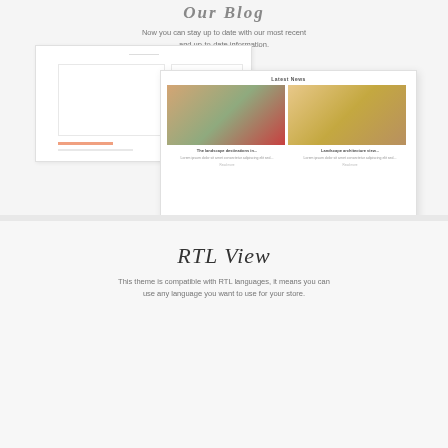Our Blog
Now you can stay up to date with our most recent and up-to-date information.
[Figure (screenshot): Blog page mockup showing website pages with food images and Latest News section]
RTL View
This theme is compatible with RTL languages, it means you can use any language you want to use for your store.
[Figure (screenshot): RTL view mockup showing Arabic language website with food hero image, Live Chat button, and scroll-up arrow]